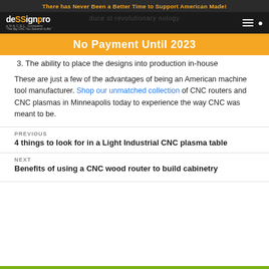There has Never Been a Better Time to Support American Made!
[Figure (logo): Company logo and navigation bar with hamburger menu and search icon]
No Payment Until 2023
3. The ability to place the designs into production in-house
These are just a few of the advantages of being an American machine tool manufacturer. Shop our unmatched collection of CNC routers and CNC plasmas in Minneapolis today to experience the way CNC was meant to be.
PREVIOUS
4 things to look for in a Light Industrial CNC plasma table
NEXT
Benefits of using a CNC wood router to build cabinetry